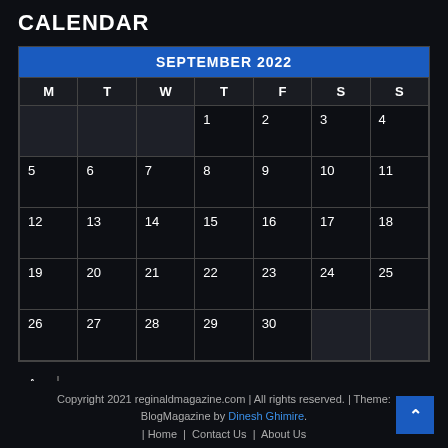CALENDAR
| M | T | W | T | F | S | S |
| --- | --- | --- | --- | --- | --- | --- |
|  |  |  | 1 | 2 | 3 | 4 |
| 5 | 6 | 7 | 8 | 9 | 10 | 11 |
| 12 | 13 | 14 | 15 | 16 | 17 | 18 |
| 19 | 20 | 21 | 22 | 23 | 24 | 25 |
| 26 | 27 | 28 | 29 | 30 |  |  |
« Aug
Copyright 2021 reginaldmagazine.com | All rights reserved. | Theme: BlogMagazine by Dinesh Ghimire. | Home | Contact Us | About Us